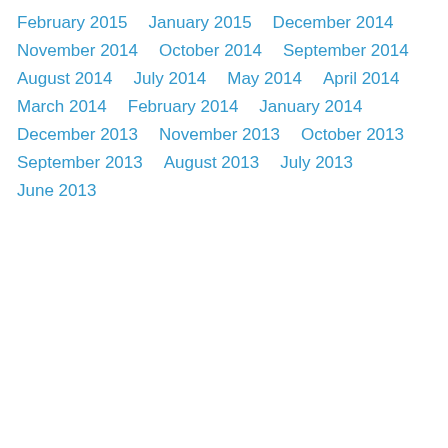February 2015
January 2015
December 2014
November 2014
October 2014
September 2014
August 2014
July 2014
May 2014
April 2014
March 2014
February 2014
January 2014
December 2013
November 2013
October 2013
September 2013
August 2013
July 2013
June 2013